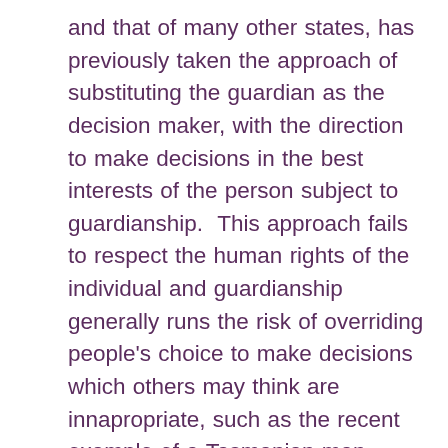and that of many other states, has previously taken the approach of substituting the guardian as the decision maker, with the direction to make decisions in the best interests of the person subject to guardianship.  This approach fails to respect the human rights of the individual and guardianship generally runs the risk of overriding people's choice to make decisions which others may think are innapropriate, such as the recent example of a Tasmanian man denied the right to choose where he lived because of a hospital guardianship application, recently challenged and overturned.